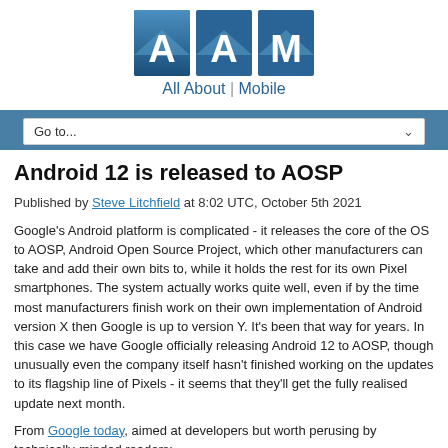[Figure (logo): AAM All About Mobile logo with three blue square tiles containing letters A, A, M and tagline 'All About | Mobile']
Go to...
Android 12 is released to AOSP
Published by Steve Litchfield at 8:02 UTC, October 5th 2021
Google's Android platform is complicated - it releases the core of the OS to AOSP, Android Open Source Project, which other manufacturers can take and add their own bits to, while it holds the rest for its own Pixel smartphones. The system actually works quite well, even if by the time most manufacturers finish work on their own implementation of Android version X then Google is up to version Y. It's been that way for years. In this case we have Google officially releasing Android 12 to AOSP, though unusually even the company itself hasn't finished working on the updates to its flagship line of Pixels - it seems that they'll get the fully realised update next month.
From Google today, aimed at developers but worth perusing by technically-minded readers: